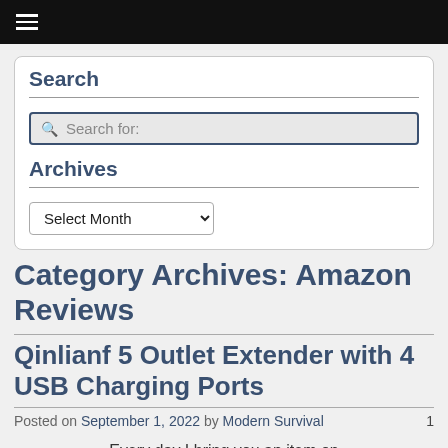≡
Search
Search for:
Archives
Select Month
Category Archives: Amazon Reviews
Qinlianf 5 Outlet Extender with 4 USB Charging Ports
Posted on September 1, 2022 by Modern Survival   1
Every day I bring you an item on